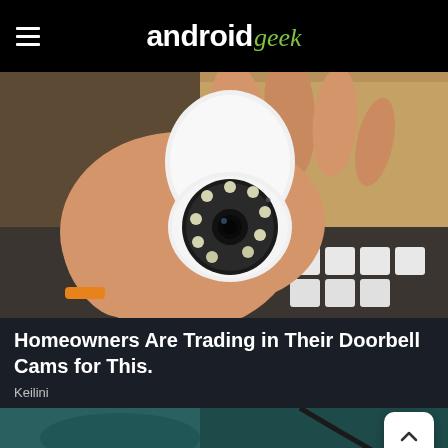android geek
[Figure (photo): A hand holding a white PTZ/bulb-style security camera with a circular lens housing and LED ring, photographed against a background showing a cardboard box and white electrical components]
Homeowners Are Trading in Their Doorbell Cams for This.
Keilini
[Figure (photo): Partial view of a dark teal/green textured surface with what appears to be a cable or cord, bottom of page preview strip]